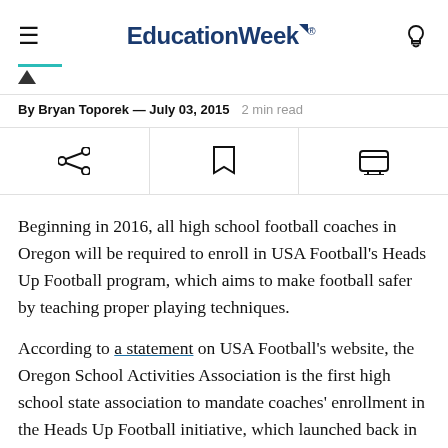EducationWeek®
By Bryan Toporek — July 03, 2015  2 min read
Beginning in 2016, all high school football coaches in Oregon will be required to enroll in USA Football's Heads Up Football program, which aims to make football safer by teaching proper playing techniques.
According to a statement on USA Football's website, the Oregon School Activities Association is the first high school state association to mandate coaches' enrollment in the Heads Up Football initiative, which launched back in